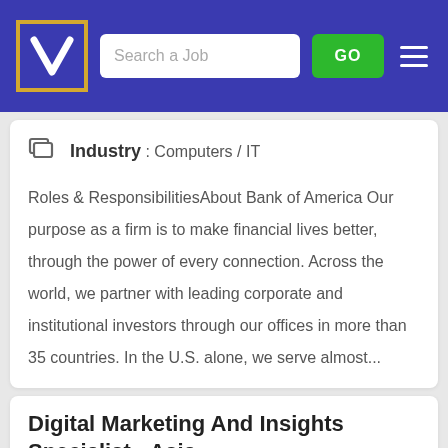[Figure (screenshot): Navigation header bar with logo, search box, GO button, and hamburger menu on blue/indigo background]
Industry : Computers / IT
Roles & ResponsibilitiesAbout Bank of America Our purpose as a firm is to make financial lives better, through the power of every connection. Across the world, we partner with leading corporate and institutional investors through our offices in more than 35 countries. In the U.S. alone, we serve almost...
Digital Marketing And Insights Specialist - Asia
Tumalon Katak Salahkar Pte. Ltd.
POST YOUR RESUME HERE